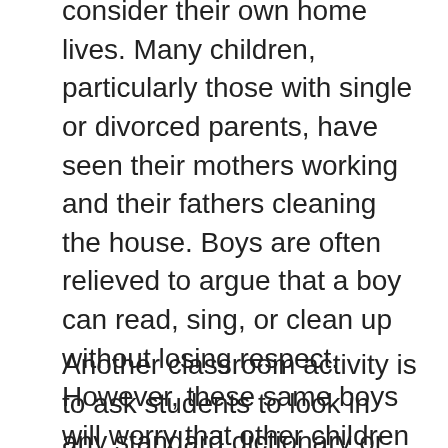consider their own home lives. Many children, particularly those with single or divorced parents, have seen their mothers working and their fathers cleaning the house. Boys are often relieved to argue that a boy can read, sing, or clean up without losing respect. However, these same boys will worry that other children will continue to believe in sex-role myths. These fears are often strong enough to keep children in traditional sex roles even when they become aware of the unjust nature of these roles.
Another classroom activity is to ask students to look in any standard dictionary or thesaurus for the definition of "male" and...